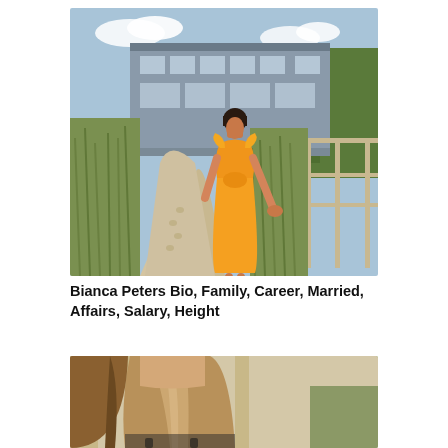[Figure (photo): Woman in an orange ruffled two-piece outfit standing on a sandy beach path near tall grass, with a modern beach house visible in the background.]
Bianca Peters Bio, Family, Career, Married, Affairs, Salary, Height
[Figure (photo): Close-up photo of a woman with long blonde highlighted hair, partially cropped, under a tan and white striped beach umbrella with trees in background.]